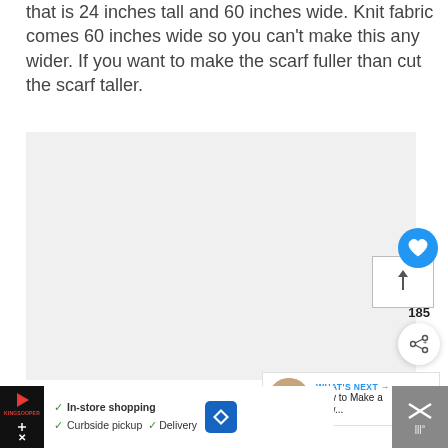that is 24 inches tall and 60 inches wide. Knit fabric comes 60 inches wide so you can't make this any wider. If you want to make the scarf fuller than cut the scarf taller.
[Figure (photo): Large image area (mostly blank/light gray) with a social media save widget showing a heart icon and count of 185, a share icon button, and a 'What's Next' panel showing a thumbnail and text 'How to Make a Bow...']
WHAT'S NEXT → How to Make a Bow...
In-store shopping  Curbside pickup  Delivery